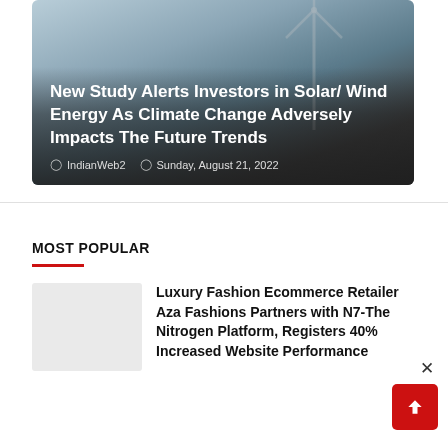[Figure (photo): Hero image of wind turbine against a hazy sky with dark gradient overlay. Article title and metadata overlaid on bottom portion.]
New Study Alerts Investors in Solar/ Wind Energy As Climate Change Adversely Impacts The Future Trends
IndianWeb2   Sunday, August 21, 2022
MOST POPULAR
Luxury Fashion Ecommerce Retailer Aza Fashions Partners with N7-The Nitrogen Platform, Registers 40% Increased Website Performance